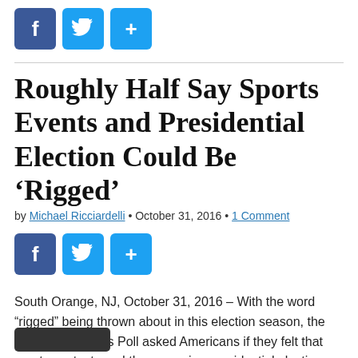[Figure (other): Social share icons row: Facebook (blue f), Twitter (blue bird), Share (blue plus sign)]
Roughly Half Say Sports Events and Presidential Election Could Be ‘Rigged’
by Michael Ricciardelli • October 31, 2016 • 1 Comment
[Figure (other): Social share icons row: Facebook (blue f), Twitter (blue bird), Share (blue plus sign)]
South Orange, NJ, October 31, 2016 – With the word “rigged” being thrown about in this election season, the Seton Hall Sports Poll asked Americans if they felt that sports contests and the upcoming presidential election “could be rigged by…